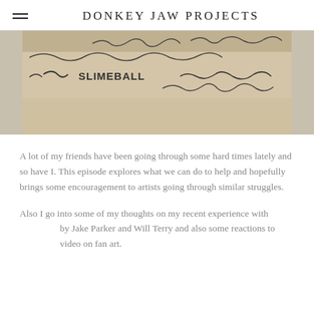DONKEY JAW PROJECTS
[Figure (photo): A photograph of a piece of paper with handwritten squiggly lines and the text 'SLIMEBALL' written in marker.]
A lot of my friends have been going through some hard times lately and so have I. This episode explores what we can do to help and hopefully brings some encouragement to artists going through similar struggles.
Also I go into some of my thoughts on my recent experience with [redacted] by Jake Parker and Will Terry and also some reactions to [redacted] video on fan art.